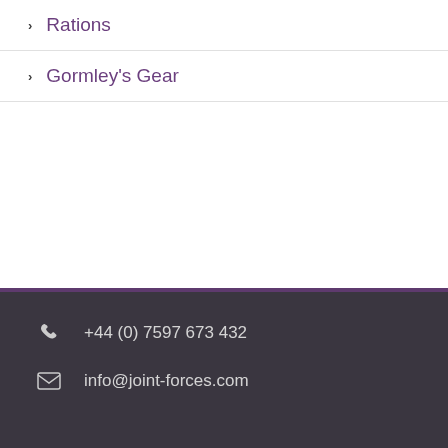Rations
Gormley's Gear
+44 (0) 7597 673 432 | info@joint-forces.com